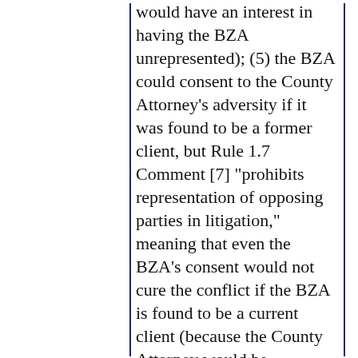would have an interest in having the BZA unrepresented); (5) the BZA could consent to the County Attorney's adversity if it was found to be a former client, but Rule 1.7 Comment [7] "prohibits representation of opposing parties in litigation," meaning that even the BZA's consent would not cure the conflict if the BZA is found to be a current client (because the County Attorney would be simultaneously representing